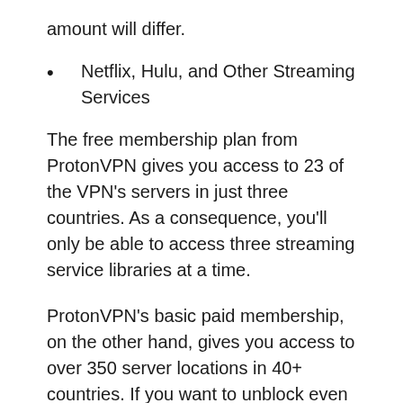amount will differ.
Netflix, Hulu, and Other Streaming Services
The free membership plan from ProtonVPN gives you access to 23 of the VPN’s servers in just three countries. As a consequence, you’ll only be able to access three streaming service libraries at a time.
ProtonVPN’s basic paid membership, on the other hand, gives you access to over 350 server locations in 40+ countries. If you want to unblock even more streaming libraries, ProtonVPN’s extra package, which gives you